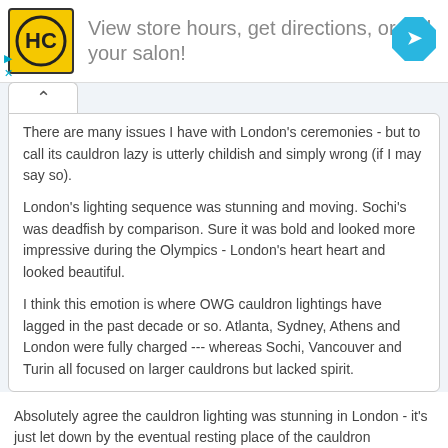[Figure (infographic): Advertisement banner: HC logo on yellow square background, text 'View store hours, get directions, or call your salon!', blue diamond navigation icon on right, small play and close icons on lower left]
There are many issues I have with London's ceremonies - but to call its cauldron lazy is utterly childish and simply wrong (if I may say so).
London's lighting sequence was stunning and moving. Sochi's was deadfish by comparison. Sure it was bold and looked more impressive during the Olympics - London's heart heart and looked beautiful.
I think this emotion is where OWG cauldron lightings have lagged in the past decade or so. Atlanta, Sydney, Athens and London were fully charged --- whereas Sochi, Vancouver and Turin all focused on larger cauldrons but lacked spirit.
Absolutely agree the cauldron lighting was stunning in London - it's just let down by the eventual resting place of the cauldron